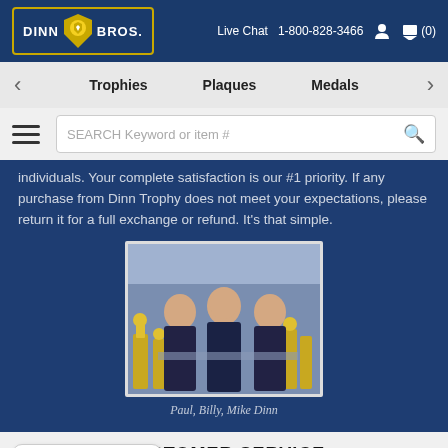Dinn Bros. | Live Chat  1-800-828-3466
Trophies  Plaques  Medals
individuals. Your complete satisfaction is our #1 priority. If any purchase from Dinn Trophy does not meet your expectations, please return it for a full exchange or refund. It's that simple.
[Figure (photo): Three men (Paul, Billy, Mike Dinn) posing together in a store with trophies around them, wearing dark polo shirts]
Paul, Billy, Mike Dinn
CUSTOMER SERVICE
Have a question? Leave a message
Login to Your Account
Check Authorization